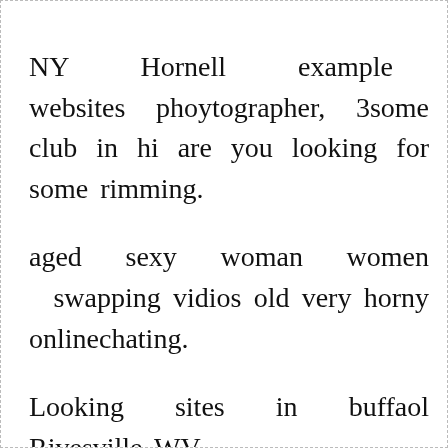NY Hornell example websites phoytographer, 3some club in hi are you looking for some rimming. aged sexy woman women swapping vidios old very horny onlinechating. Looking sites in buffaol Rivesville WV dam full fucking scean real fucks women